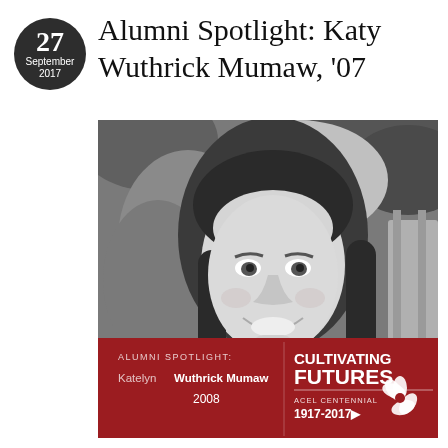27 September 2017
Alumni Spotlight: Katy Wuthrick Mumaw, '07
[Figure (photo): Black and white headshot photo of Katelyn Wuthrick Mumaw, a young woman with long straight dark hair, smiling, photographed outdoors with foliage in background. Red banner overlay at bottom reads: ALUMNI SPOTLIGHT: Katelyn Wuthrick Mumaw 2008, and CULTIVATING FUTURES ACEL CENTENNIAL 1917-2017 with a flower logo.]